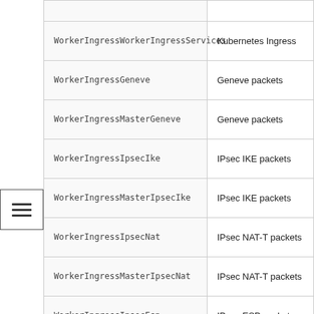| Name | Description |
| --- | --- |
| WorkerIngressWorkerIngressServices | Kubernetes Ingress |
| WorkerIngressGeneve | Geneve packets |
| WorkerIngressMasterGeneve | Geneve packets |
| WorkerIngressIpsecIke | IPsec IKE packets |
| WorkerIngressMasterIpsecIke | IPsec IKE packets |
| WorkerIngressIpsecNat | IPsec NAT-T packets |
| WorkerIngressMasterIpsecNat | IPsec NAT-T packets |
| WorkerIngressIpsecEsp | IPsec ESP packets |
|  |  |